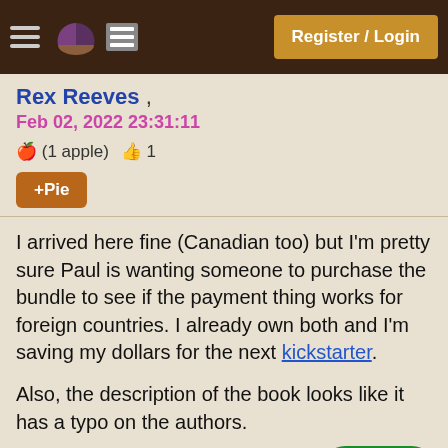Register / Login
Rex Reeves , Feb 02, 2022 23:31:11  (1 apple)  1  +Pie
I arrived here fine (Canadian too) but I'm pretty sure Paul is wanting someone to purchase the bundle to see if the payment thing works for foreign countries. I already own both and I'm saving my dollars for the next kickstarter.

Also, the description of the book looks like it has a typo on the authors.

"1 physical copy of "Building a Better World in Your Backyard Instead of Being Angry at Bad Haasle and Paul Wheaton"
I have several copies and they all say Shawn, not Mike